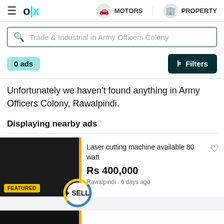OLx  MOTORS  PROPERTY
Trade & Industrial in Army Officers Colony
0 ads   Filters
Unfortunately we haven't found anything in Army Officers Colony, Rawalpindi.
Displaying nearby ads
Laser cutting machine available 80 watt
Rs 400,000
Rawalpindi · 6 days ago